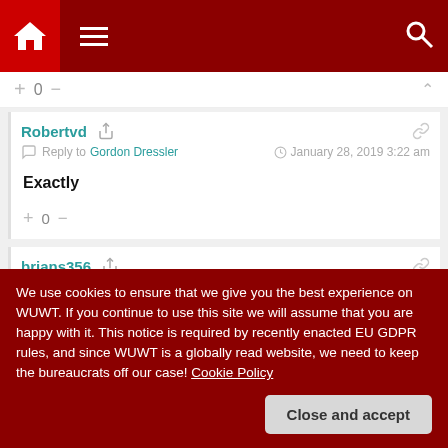Navigation bar with home, menu, and search icons
+ 0 −
Robertvd  Reply to Gordon Dressler  January 28, 2019 3:22 am
Exactly
+ 0 −
brians356
We use cookies to ensure that we give you the best experience on WUWT. If you continue to use this site we will assume that you are happy with it. This notice is required by recently enacted EU GDPR rules, and since WUWT is a globally read website, we need to keep the bureaucrats off our case! Cookie Policy
Close and accept
Reply to brians356  January 27, 2019 3:07 pm